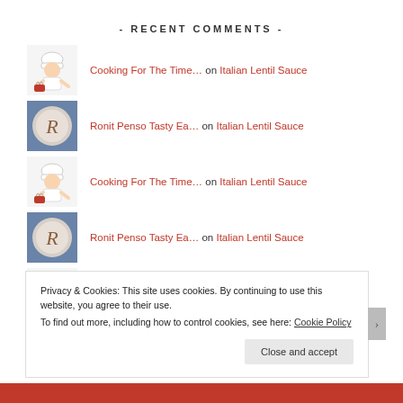- RECENT COMMENTS -
Cooking For The Time… on Italian Lentil Sauce
Ronit Penso Tasty Ea… on Italian Lentil Sauce
Cooking For The Time… on Italian Lentil Sauce
Ronit Penso Tasty Ea… on Italian Lentil Sauce
Privacy & Cookies: This site uses cookies. By continuing to use this website, you agree to their use.
To find out more, including how to control cookies, see here: Cookie Policy
Close and accept